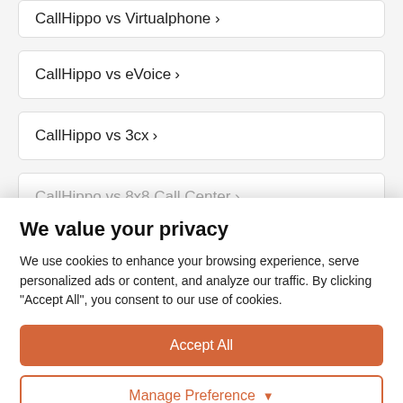CallHippo vs Virtualphone ›
CallHippo vs eVoice ›
CallHippo vs 3cx ›
CallHippo vs 8x8 Call Center ›
We value your privacy
We use cookies to enhance your browsing experience, serve personalized ads or content, and analyze our traffic. By clicking "Accept All", you consent to our use of cookies.
Accept All
Manage Preference